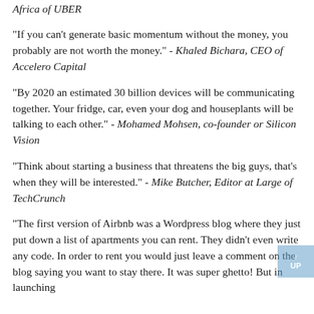Africa of UBER
"If you can't generate basic momentum without the money, you probably are not worth the money." - Khaled Bichara, CEO of Accelero Capital
"By 2020 an estimated 30 billion devices will be communicating together. Your fridge, car, even your dog and houseplants will be talking to each other." - Mohamed Mohsen, co-founder or Silicon Vision
"Think about starting a business that threatens the big guys, that's when they will be interested." - Mike Butcher, Editor at Large of TechCrunch
"The first version of Airbnb was a Wordpress blog where they just put down a list of apartments you can rent. They didn't even write any code. In order to rent you would just leave a comment on the blog saying you want to stay there. It was super ghetto! But in launching